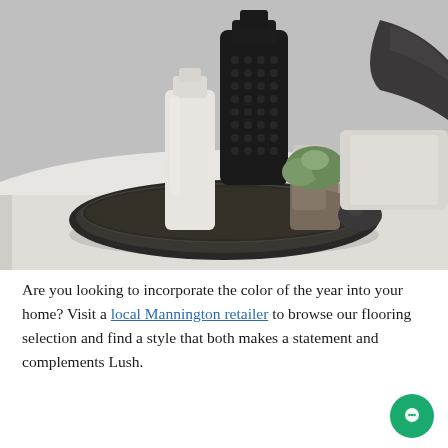[Figure (photo): Interior decor photo showing a dark oval tray on a light surface with white ceramic bottles, a small plant in a glass jar, and a dark stone. A large black textured vase is in the background, along with a white pillow and dark knit throw.]
Are you looking to incorporate the color of the year into your home? Visit a local Mannington retailer to browse our flooring selection and find a style that both makes a statement and complements Lush.